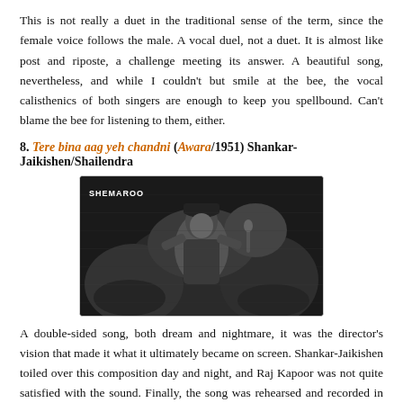This is not really a duet in the traditional sense of the term, since the female voice follows the male. A vocal duel, not a duet. It is almost like post and riposte, a challenge meeting its answer. A beautiful song, nevertheless, and while I couldn't but smile at the bee, the vocal calisthenics of both singers are enough to keep you spellbound. Can't blame the bee for listening to them, either.
8. Tere bina aag yeh chandni (Awara/1951) Shankar-Jaikishen/Shailendra
[Figure (photo): Black and white film still showing a man singing or performing, with 'SHEMAROO' watermark text in the upper left corner.]
A double-sided song, both dream and nightmare, it was the director's vision that made it what it ultimately became on screen. Shankar-Jaikishen toiled over this composition day and night, and Raj Kapoor was not quite satisfied with the sound. Finally, the song was rehearsed and recorded in the wee hours of the morning, and the sequence itself took more than three months to shoot. With